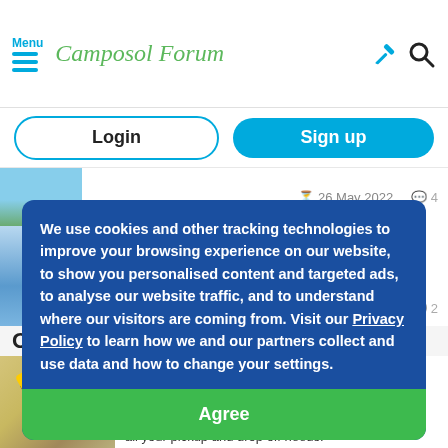Menu | Camposol Forum
Login
Sign up
26 May 2022  4
TV in  2
We use cookies and other tracking technologies to improve your browsing experience on our website, to show you personalised content and targeted ads, to analyse our website traffic, and to understand where our visitors are coming from. Visit our Privacy Policy to learn how we and our partners collect and use data and how to change your settings.
Agree
Our s
JOE ON THE GO
Retired, reliable and professional driver with own van and trailer available at very reasonable rates for all your pickup and drop off needs.